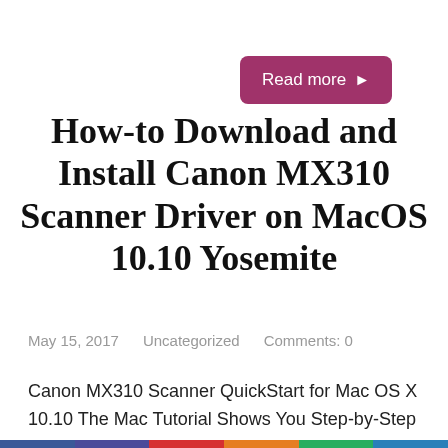[Figure (other): Read more button — rounded rectangle in dark pink/maroon with white text 'Read more ▶']
How-to Download and Install Canon MX310 Scanner Driver on MacOS 10.10 Yosemite
May 15, 2017    Uncategorized    Comments: 0
Canon MX310 Scanner QuickStart for Mac OS X 10.10 The Mac Tutorial Shows You Step-by-Step How-to Download and Install the Canon MX310 Series All-in-One Scanner Driver on Mac OS X 10.10 Yosemite Desktop. If the Canon Drivers for Mac OS X Yosemite are not available then you can Install the Available